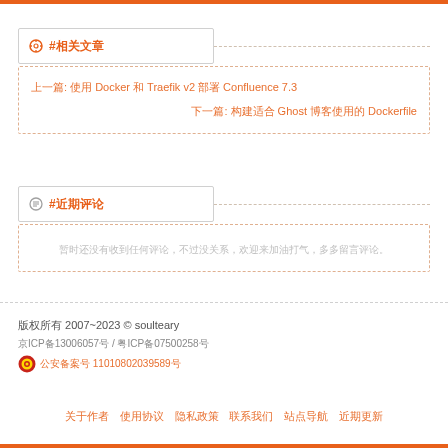#相关文章
上一篇: 使用 Docker 和 Traefik v2 部署 Confluence 7.3
下一篇: 构建适合 Ghost 博客使用的 Dockerfile
#近期评论
暂时还没有收到任何评论，不过没关系，欢迎来加油打气，多多留言评论。
版权所有 2007~2023 © soulteary
京ICP备13006057号 / 粤ICP备07500258号
公安备案号 11010802039589号
关于作者  使用协议  隐私政策  联系我们  站点导航  近期更新